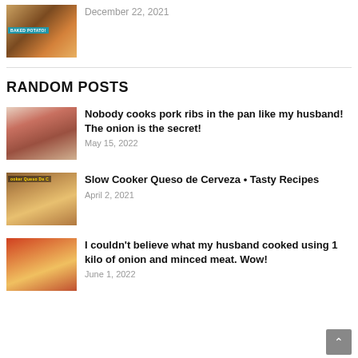[Figure (photo): Baked potato recipes thumbnail collage with blue label overlay]
December 22, 2021
RANDOM POSTS
[Figure (photo): Raw pork ribs in a pan]
Nobody cooks pork ribs in the pan like my husband! The onion is the secret!
May 15, 2022
[Figure (photo): Slow Cooker Queso de Cerveza dish with label overlay]
Slow Cooker Queso de Cerveza • Tasty Recipes
April 2, 2021
[Figure (photo): Stuffed onion cups with minced meat cooking]
I couldn't believe what my husband cooked using 1 kilo of onion and minced meat. Wow!
June 1, 2022